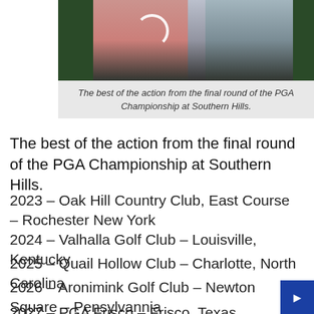[Figure (photo): Two golfers, one in pink and one in blue shirt, at the PGA Championship at Southern Hills. A spinning loading icon is visible on the left golfer.]
The best of the action from the final round of the PGA Championship at Southern Hills.
The best of the action from the final round of the PGA Championship at Southern Hills.
2023 – Oak Hill Country Club, East Course – Rochester New York
2024 – Valhalla Golf Club – Louisville, Kentucky
2025 – Quail Hollow Club – Charlotte, North Carolina
2026 – Aronimink Golf Club – Newton Square – Pensylvannia
2027 – PGA Frisco – Frisco, Texas